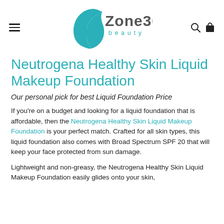[Figure (logo): Zone365 beauty logo with teal face silhouette and text]
Neutrogena Healthy Skin Liquid Makeup Foundation
Our personal pick for best Liquid Foundation Price
If you're on a budget and looking for a liquid foundation that is affordable, then the Neutrogena Healthy Skin Liquid Makeup Foundation is your perfect match. Crafted for all skin types, this liquid foundation also comes with Broad Spectrum SPF 20 that will keep your face protected from sun damage.
Lightweight and non-greasy, the Neutrogena Healthy Skin Liquid Makeup Foundation easily glides onto your skin,